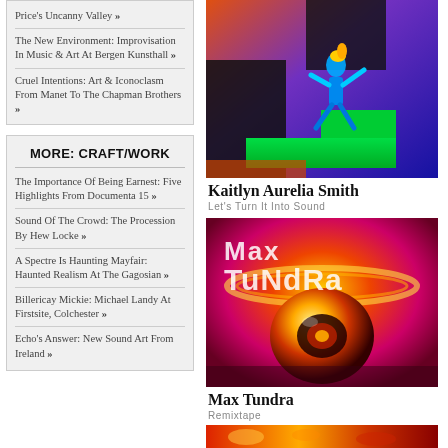Price's Uncanny Valley »
The New Environment: Improvisation In Music & Art At Bergen Kunsthall »
Cruel Intentions: Art & Iconoclasm From Manet To The Chapman Brothers »
MORE: CRAFT/WORK
The Importance Of Being Earnest: Five Highlights From Documenta 15 »
Sound Of The Crowd: The Procession By Hew Locke »
A Spectre Is Haunting Mayfair: Haunted Realism At The Gagosian »
Billericay Mickie: Michael Landy At Firstsite, Colchester »
Echo's Answer: New Sound Art From Ireland »
[Figure (illustration): Colorful digital art showing a blue humanoid figure dancing on geometric neon-colored platforms against a purple/blue background]
Kaitlyn Aurelia Smith
Let's Turn It Into Sound
[Figure (illustration): Album cover for Max Tundra Remixtape showing a glowing orb/shell object on a red/pink gradient background with the text Max Tundra in large letters]
Max Tundra
Remixtape
[Figure (illustration): Partial album cover visible at bottom, colorful with red and orange tones]